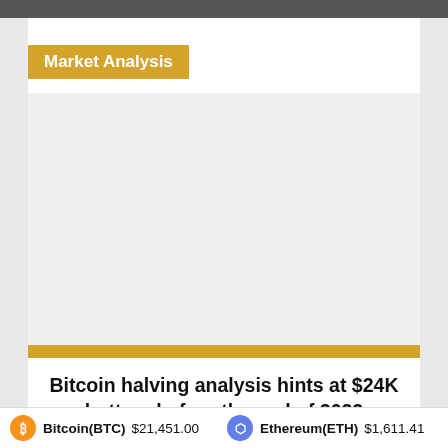Market Analysis
[Figure (photo): Blank/white image area placeholder for a Bitcoin halving analysis chart or image]
Bitcoin halving analysis hints at $24K bottom before the end of 2022
Bitcoin(BTC) $21,451.00   Ethereum(ETH) $1,611.41   XRP...